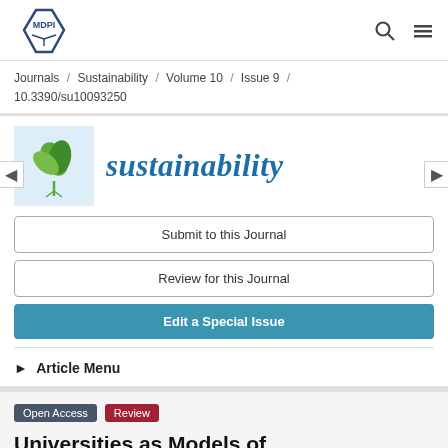MDPI
Journals / Sustainability / Volume 10 / Issue 9 / 10.3390/su10093250
[Figure (logo): Sustainability journal logo with green leaves icon and italic teal 'sustainability' text]
Submit to this Journal
Review for this Journal
Edit a Special Issue
► Article Menu
Open Access
Review
Universities as Models of